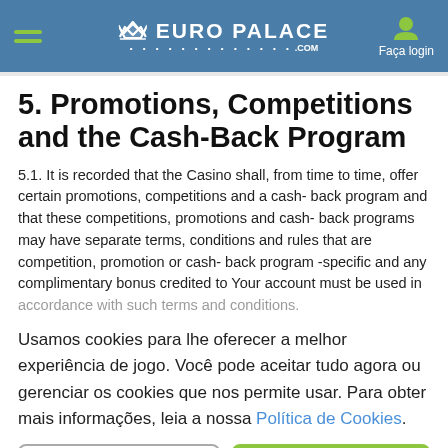Euro Palace .com — Faça login
5. Promotions, Competitions and the Cash-Back Program
5.1. It is recorded that the Casino shall, from time to time, offer certain promotions, competitions and a cash- back program and that these competitions, promotions and cash- back programs may have separate terms, conditions and rules that are competition, promotion or cash- back program -specific and any complimentary bonus credited to Your account must be used in accordance with such terms and conditions.
Usamos cookies para lhe oferecer a melhor experiência de jogo. Você pode aceitar tudo agora ou gerenciar os cookies que nos permite usar. Para obter mais informações, leia a nossa Política de Cookies.